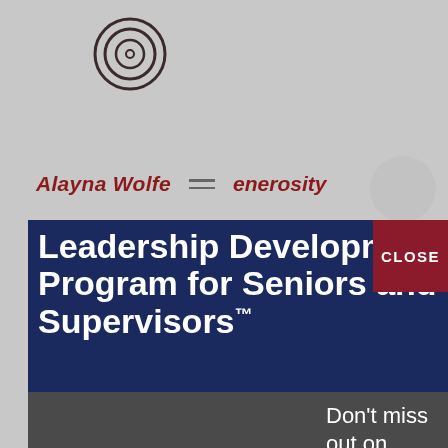[Figure (logo): Circular concentric rings logo in dark gray/maroon outline style]
Alayna Wolfe  ≡  enerosity
Leadership Development Program for Seniors and Supervisors™
CLOSE
[Figure (photo): Group photo of four young professionals standing together smiling, one in yellow jacket, in front of a whiteboard/flip chart]
Don't miss out on